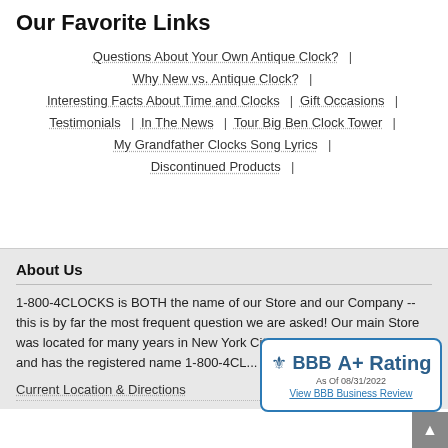Our Favorite Links
Questions About Your Own Antique Clock?  |
Why New vs. Antique Clock?  |
Interesting Facts About Time and Clocks  |  Gift Occasions  |
Testimonials  |  In The News  |  Tour Big Ben Clock Tower  |
My Grandfather Clocks Song Lyrics  |
Discontinued Products  |
About Us
1-800-4CLOCKS is BOTH the name of our Store and our Company -- this is by far the most frequent question we are asked! Our main Store was located for many years in New York City's Grand Central Station, and has the registered name 1-800-4CL... 1-800-CONTACTS or 1-800...
[Figure (logo): BBB A+ Rating badge, As Of 08/31/2022, View BBB Business Review]
Current Location & Directions